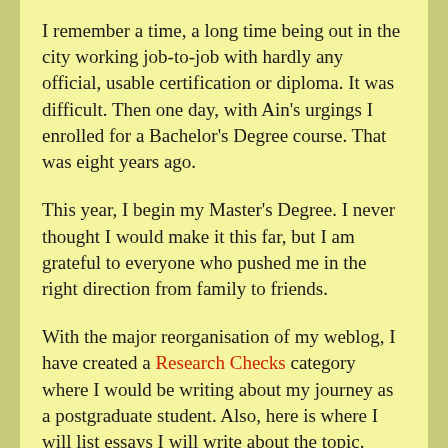I remember a time, a long time being out in the city working job-to-job with hardly any official, usable certification or diploma. It was difficult. Then one day, with Ain's urgings I enrolled for a Bachelor's Degree course. That was eight years ago.
This year, I begin my Master's Degree. I never thought I would make it this far, but I am grateful to everyone who pushed me in the right direction from family to friends.
With the major reorganisation of my weblog, I have created a Research Checks category where I would be writing about my journey as a postgraduate student. Also, here is where I will list essays I will write about the topic. Perhaps my supervisor would be able to monitor my work and provide guidance based